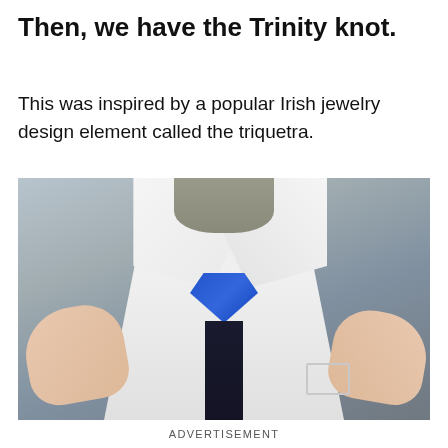Then, we have the Trinity knot.
This was inspired by a popular Irish jewelry design element called the triquetra.
[Figure (photo): Person tying a blue Trinity knot on a dark necktie, wearing a white dress shirt with open collar. Two hands are visible adjusting the shirt collar. The Trinity knot (triquetra-inspired) is shown in blue at the collar.]
ADVERTISEMENT